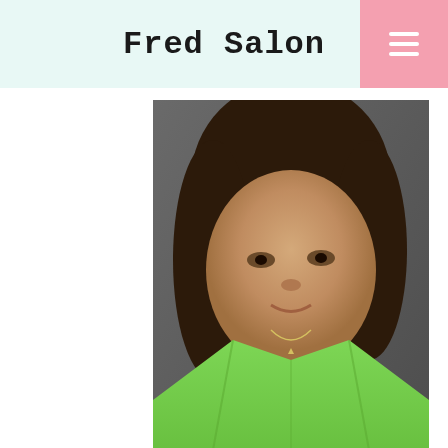Fred Salon
[Figure (photo): Woman with brown hair wearing a green halterneck top, close-up portrait photo]
LOCAL DATING IN KINGSTON
[Figure (photo): Blonde woman in dark clothing, portrait photo]